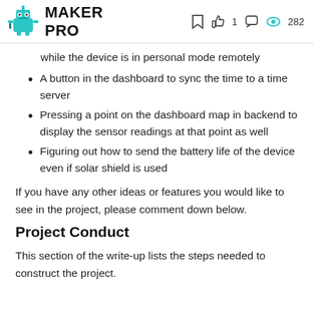MAKER PRO  1  282
while the device is in personal mode remotely
A button in the dashboard to sync the time to a time server
Pressing a point on the dashboard map in backend to display the sensor readings at that point as well
Figuring out how to send the battery life of the device even if solar shield is used
If you have any other ideas or features you would like to see in the project, please comment down below.
Project Conduct
This section of the write-up lists the steps needed to construct the project.